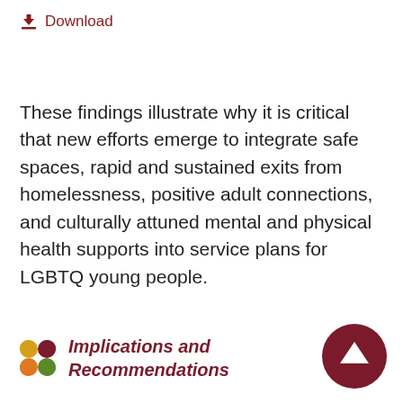Download
These findings illustrate why it is critical that new efforts emerge to integrate safe spaces, rapid and sustained exits from homelessness, positive adult connections, and culturally attuned mental and physical health supports into service plans for LGBTQ young people.
Implications and Recommendations